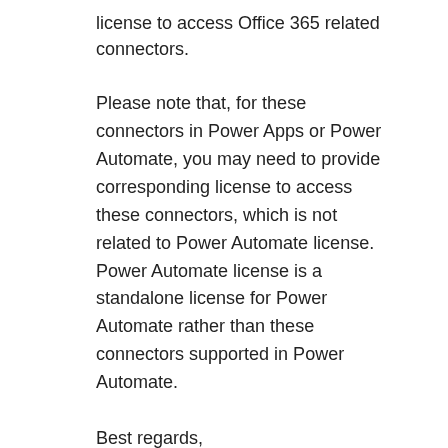license to access Office 365 related connectors.
Please note that, for these connectors in Power Apps or Power Automate, you may need to provide corresponding license to access these connectors, which is not related to Power Automate license. Power Automate license is a standalone license for Power Automate rather than these connectors supported in Power Automate.
Best regards,
Community Support Team _ Kris Dai
If this post helps, then please consider Accept it as the
Message 9 of 13 (1,457 Views)